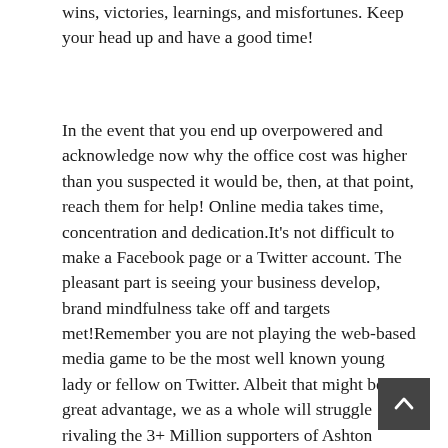wins, victories, learnings, and misfortunes. Keep your head up and have a good time!
In the event that you end up overpowered and acknowledge now why the office cost was higher than you suspected it would be, then, at that point, reach them for help! Online media takes time, concentration and dedication.It’s not difficult to make a Facebook page or a Twitter account. The pleasant part is seeing your business develop, brand mindfulness take off and targets met!Remember you are not playing the web-based media game to be the most well known young lady or fellow on Twitter. Albeit that might be a great advantage, we as a whole will struggle rivaling the 3+ Million supporters of Ashton Kutcher LOL!